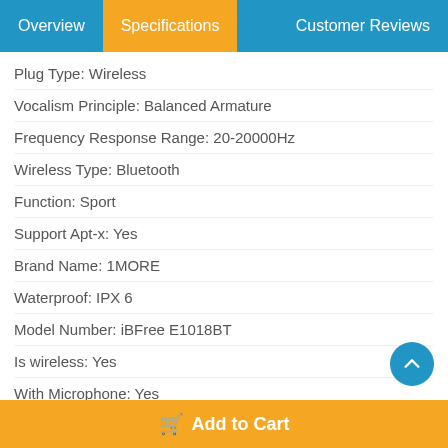Overview | Specifications | Customer Reviews
Plug Type: Wireless
Vocalism Principle: Balanced Armature
Frequency Response Range: 20-20000Hz
Wireless Type: Bluetooth
Function: Sport
Support Apt-x: Yes
Brand Name: 1MORE
Waterproof: IPX 6
Model Number: iBFree E1018BT
Is wireless: Yes
With Microphone: Yes
Line Length: None
Active Noise-Cancellation: Yes
Support APP: No
Bluetooth specification: V4.2
Volume Control: Yes
Add to Cart